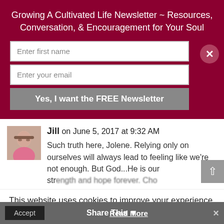Growing A Cultivated Life Newsletter ~ Resources, Conversation, & Encouragement for Your Soul
Enter first name
Enter your email
Yes, I want the FREE Newsletter
Jill on June 5, 2017 at 9:32 AM
Such truth here, Jolene. Relying only on ourselves will always lead to feeling like we're not enough. But God...He is our strength and our hope and forever. Cho...
This website uses cookies to improve your experience. We'll assume you're ok with this, but you can opt-out if you wish.
Accept
Read More
Share This